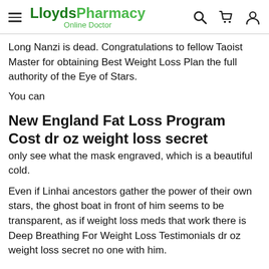LloydsPharmacy Online Doctor
Long Nanzi is dead. Congratulations to fellow Taoist Master for obtaining Best Weight Loss Plan the full authority of the Eye of Stars.
You can
New England Fat Loss Program Cost dr oz weight loss secret
only see what the mask engraved, which is a beautiful cold.
Even if Linhai ancestors gather the power of their own stars, the ghost boat in front of him seems to be transparent, as if weight loss meds that work there is Deep Breathing For Weight Loss Testimonials dr oz weight loss secret no one with him.